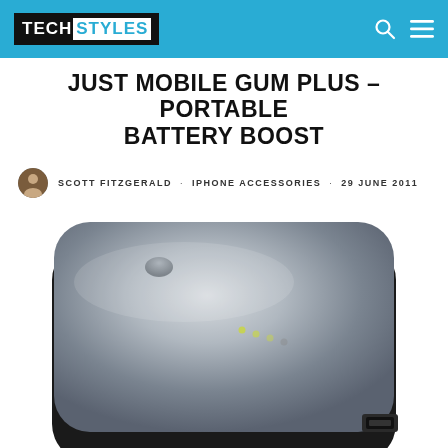TECH STYLES
JUST MOBILE GUM PLUS – PORTABLE BATTERY BOOST
SCOTT FITZGERALD · IPHONE ACCESSORIES · 29 JUNE 2011
[Figure (photo): Photo of a Just Mobile Gum Plus portable battery charger — a rounded rectangular silver/grey device with black edges, a small button on top, LED indicator dots, and a USB port on the side, shown on a white background.]